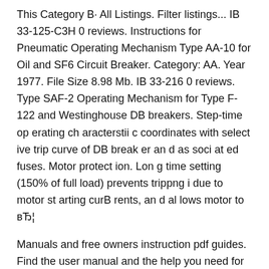This Category B· All Listings. Filter listings... IB 33-125-C3H 0 reviews. Instructions for Pneumatic Operating Mechanism Type AA-10 for Oil and SF6 Circuit Breaker. Category: AA. Year 1977. File Size 8.98 Mb. IB 33-216 0 reviews. Type SAF-2 Operating Mechanism for Type F-122 and Westinghouse DB breakers. Step-time op erating ch aracterstii c coordinates with select ive trip curve of DB break er an d as soci at ed fuses. Motor protect ion. Lon g time setting (150% of full load) prevents trippng i due to motor st arting curB rents, an d al lows motor to вЂ¦
Manuals and free owners instruction pdf guides. Find the user manual and the help you need for the products you own at ManualsOnline. Free Westinghouse User Manuals ManualsOnline.com Find Westinghouse Manuals, Care Guides & Literature Parts at RepairClinic.com. Repair your Westinghouse Manuals, Care Guides & Literature for less.